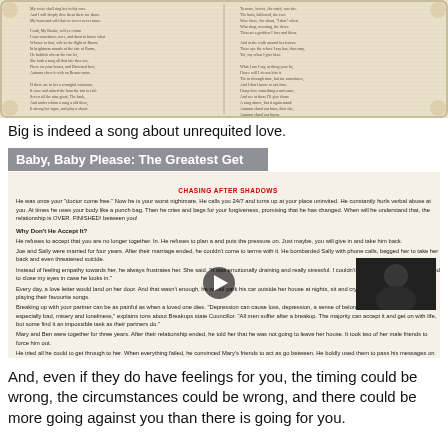[Figure (photo): Aged paper / handwritten or printed text on old parchment background, showing columns of text resembling an old song or poem.]
Big is indeed a song about unrequited love.
[Figure (screenshot): Thumbnail for a video titled 'Baby, Baby Please: The Greatest Get' with subtitle 'Chasing After Shadows'. Shows dense small text on a light background about a person refusing to accept a relationship is over. Includes a play button overlay in the middle and a small inset photo (dark image of a person) in the lower right.]
And, even if they do have feelings for you, the timing could be wrong, the circumstances could be wrong, and there could be more going against you than there is going for you.